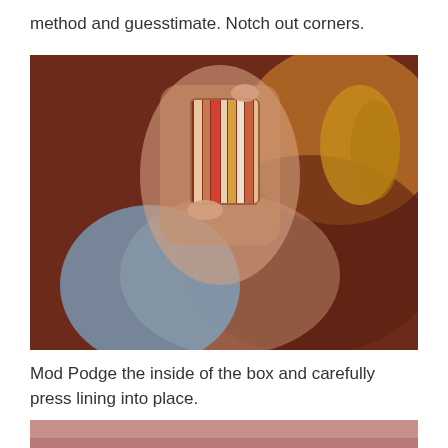method and guesstimate. Notch out corners.
[Figure (photo): A child holding up a small decorative striped box wrapped with colorful fabric — red, orange, cream, and yellow vertical stripes — pinched between fingers and extended toward the camera. The child's face is blurred in the background; they are wearing a blue top and a braided yellow headband.]
Mod Podge the inside of the box and carefully press lining into place.
[Figure (photo): Bottom portion of another photo showing a pink/rose surface, partially cropped at the bottom of the page.]